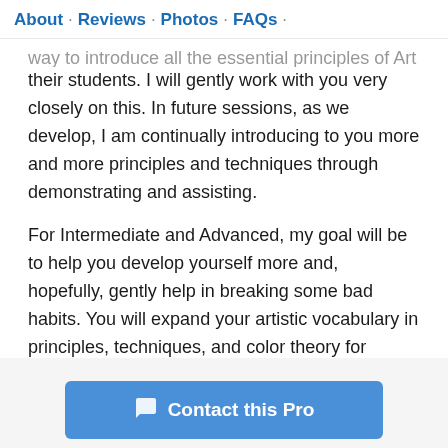About · Reviews · Photos · FAQs ·
way to introduce all the essential principles of Art to their students. I will gently work with you very closely on this. In future sessions, as we develop, I am continually introducing to you more and more principles and techniques through demonstrating and assisting.
For Intermediate and Advanced, my goal will be to help you develop yourself more and,  hopefully, gently help in breaking some bad habits. You will expand your artistic vocabulary in principles, techniques, and color theory for developing better compositions with more depth, meaning and feeling.
Contact this Pro